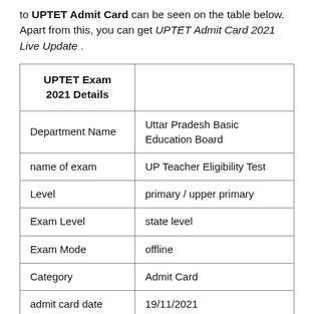to UPTET Admit Card can be seen on the table below. Apart from this, you can get UPTET Admit Card 2021 Live Update .
| UPTET Exam 2021 Details |  |
| --- | --- |
| Department Name | Uttar Pradesh Basic Education Board |
| name of exam | UP Teacher Eligibility Test |
| Level | primary / upper primary |
| Exam Level | state level |
| Exam Mode | offline |
| Category | Admit Card |
| admit card date | 19/11/2021 |